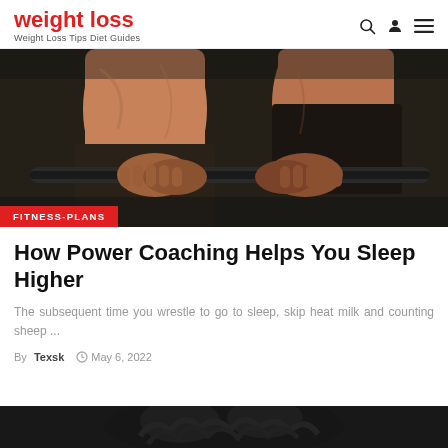weight loss — Weight Loss Tips Diet Guides
[Figure (photo): Two people gripping a barbell in a gym, torsos visible, dark moody lighting. A red badge overlay reads FITNESS-PLANS.]
How Power Coaching Helps You Sleep Higher
The subsequent time you wrestle to go to sleep, skip heat milk and counting sheep ...
By Texsk  ⊙ May 6, 2022
[Figure (photo): Partial view of a person with dark curly hair, black and white or dark toned, bottom of page.]